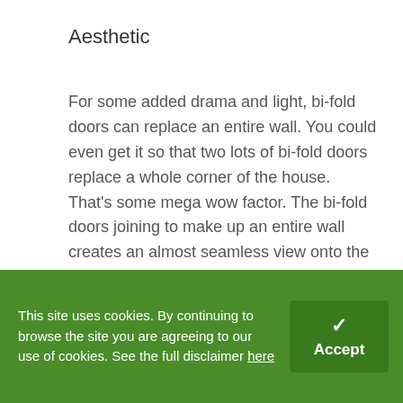Aesthetic
For some added drama and light, bi-fold doors can replace an entire wall. You could even get it so that two lots of bi-fold doors replace a whole corner of the house. That’s some mega wow factor. The bi-fold doors joining to make up an entire wall creates an almost seamless view onto the garden. In turn, your living space looks bigger and your home opens right up into your garden – perfect for when you’re entertaining or the kids are playing.
Options
When you compare bi-fold doors to the
This site uses cookies. By continuing to browse the site you are agreeing to our use of cookies. See the full disclaimer here